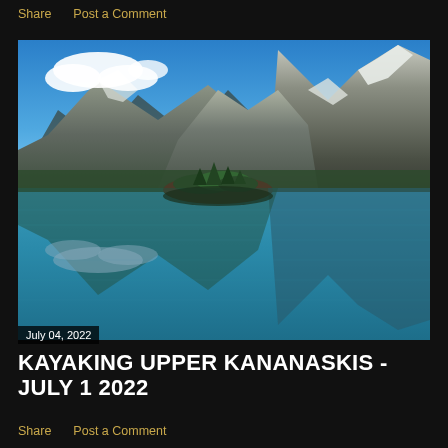Share    Post a Comment
[Figure (photo): Mountain lake scene with snow-capped mountains, a small forested island, blue sky with clouds, and perfect mirror reflection in the turquoise water. Upper Kananaskis Lake, Alberta, Canada.]
July 04, 2022
KAYAKING UPPER KANANASKIS - JULY 1 2022
Share    Post a Comment